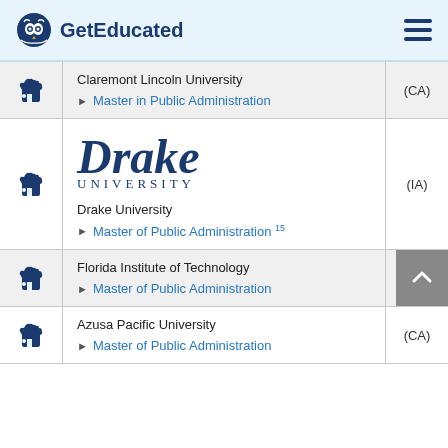GetEducated
|  | University / Program | State |
| --- | --- | --- |
| 👍 | Claremont Lincoln University
Master in Public Administration | (CA) |
| 👍 | Drake University
Master of Public Administration 15 | (IA) |
| 👍 | Florida Institute of Technology
Master of Public Administration | (FL) |
| 👍 | Azusa Pacific University
Master of Public Administration | (CA) |